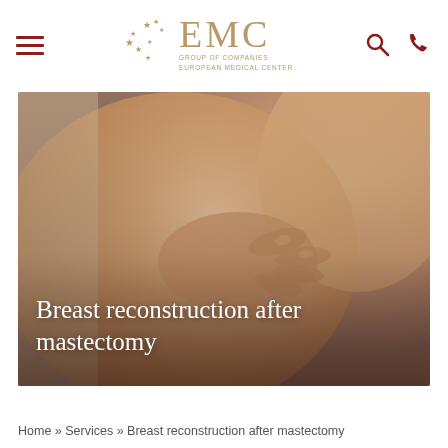EMC GROUP OF COMPANIES EUROPEAN MEDICAL CENTER
[Figure (photo): Close-up photo of a person covering their chest with their hand, illustrating breast reconstruction after mastectomy. The image has warm skin tones with soft lighting.]
Breast reconstruction after mastectomy
Home » Services » Breast reconstruction after mastectomy